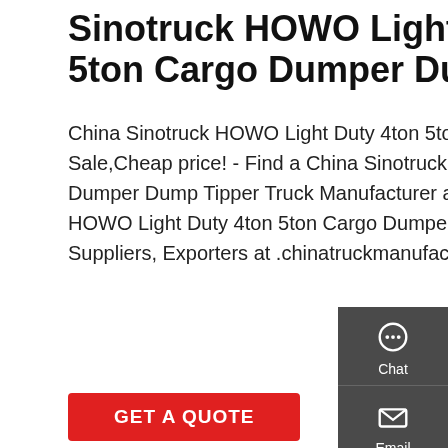Sinotruck HOWO Light Duty 4ton 5ton Cargo Dumper Dump
China Sinotruck HOWO Light Duty 4ton 5ton Cargo Dumper Dump Tipper Truck For Sale,Cheap price! - Find a China Sinotruck HOWO Light Duty 4ton 5ton Cargo Dumper Dump Tipper Truck Manufacturer and Supplier. Choose Quality Sinotruck HOWO Light Duty 4ton 5ton Cargo Dumper Dump Tipper Truck Manufacturers, Suppliers, Exporters at .chinatruckmanufacturers.com.
[Figure (other): Button: GET A QUOTE in red background]
[Figure (photo): Photo of HOWO trucks at a dealership/factory yard showing red and white trucks with HOWO branding and Chinese signage]